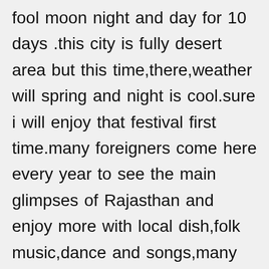fool moon night and day for 10 days .this city is fully desert area but this time,there,weather will spring and night is cool.sure i will enjoy that festival first time.many foreigners come here every year to see the main glimpses of Rajasthan and enjoy more with local dish,folk music,dance and songs,many games,dance of camel and horse etc in open desert area which is now cool not hot because of spring season.😊 i think-you will be most enjoy here💕💕💕💕💕when you may come here ,don't forget to see that festival.much love and big